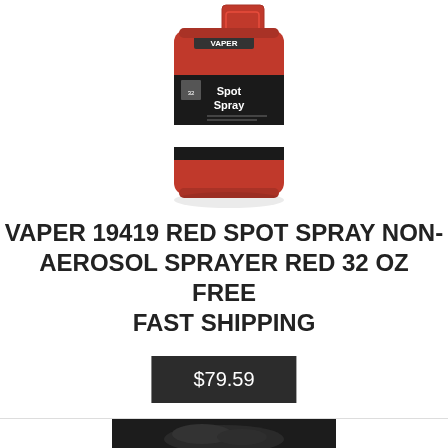[Figure (photo): Red VAPER Spot Spray non-aerosol sprayer, 32 oz, red metal canister with black label and white stripe, with red handle on top, on white background.]
VAPER 19419 RED SPOT SPRAY NON-AEROSOL SPRAYER RED 32 OZ FREE FAST SHIPPING
$79.59
[Figure (photo): Dark product image partially visible at bottom, appears to be another product on a dark background.]